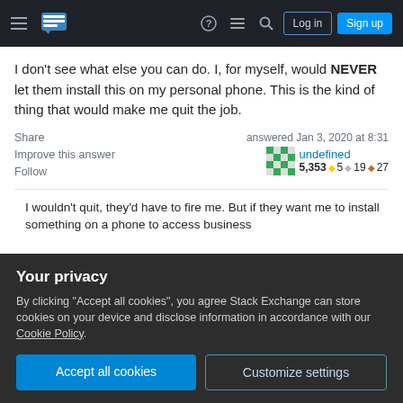Stack Exchange navigation bar with logo, help, chat, search, login, and sign up buttons
I don't see what else you can do. I, for myself, would NEVER let them install this on my personal phone. This is the kind of thing that would make me quit the job.
Share  Improve this answer  Follow
answered Jan 3, 2020 at 8:31
undefined  5,353 ◆5 ◇19 ◆27
I wouldn't quit, they'd have to fire me. But if they want me to install something on a phone to access business
Your privacy
By clicking "Accept all cookies", you agree Stack Exchange can store cookies on your device and disclose information in accordance with our Cookie Policy.
Accept all cookies    Customize settings
the phone entirely. – Dan Jan 4, 2020 at 10:24